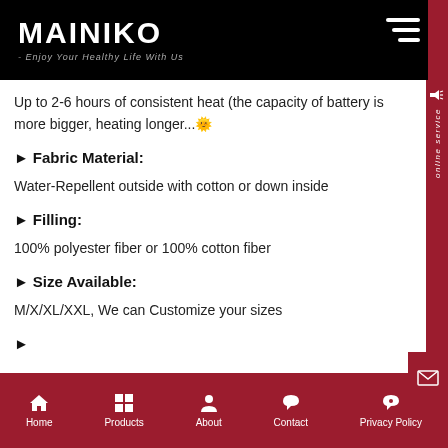[Figure (logo): MAINIKO logo with tagline 'Enjoy Your Healthy Life With Us' on black background]
Up to 2-6 hours of consistent heat (the capacity of battery is more bigger, heating longer...🌞
► Fabric Material:
Water-Repellent outside with cotton or down inside
► Filling:
100% polyester fiber or 100% cotton fiber
► Size Available:
M/X/XL/XXL, We can Customize your sizes
Home  Products  About  Contact  Privacy Policy